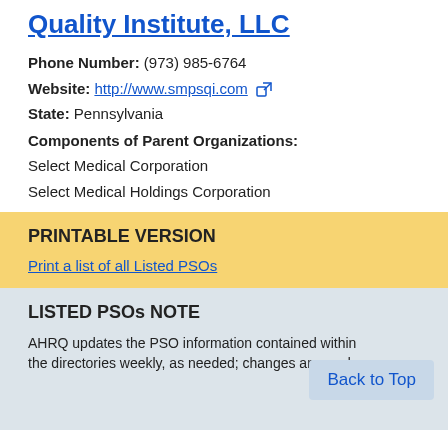Quality Institute, LLC
Phone Number: (973) 985-6764
Website: http://www.smpsqi.com
State: Pennsylvania
Components of Parent Organizations:
Select Medical Corporation
Select Medical Holdings Corporation
PRINTABLE VERSION
Print a list of all Listed PSOs
LISTED PSOs NOTE
AHRQ updates the PSO information contained within the directories weekly, as needed; changes are made